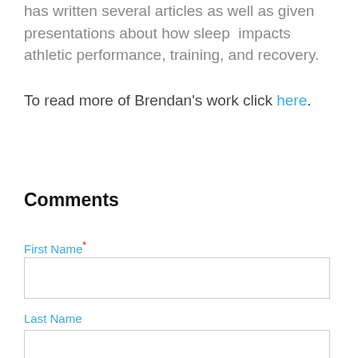has written several articles as well as given presentations about how sleep impacts athletic performance, training, and recovery.
To read more of Brendan's work click here.
Comments
First Name*
Last Name